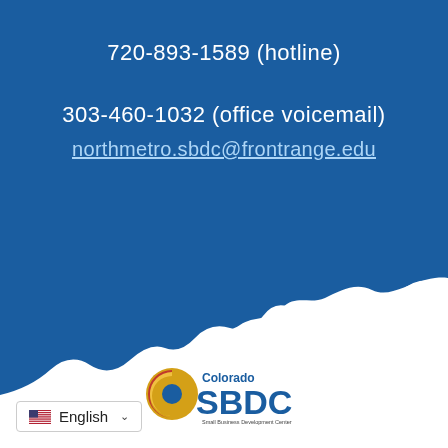720-893-1589 (hotline)
303-460-1032 (office voicemail)
northmetro.sbdc@frontrange.edu
[Figure (logo): Colorado SBDC Small Business Development Center logo]
English